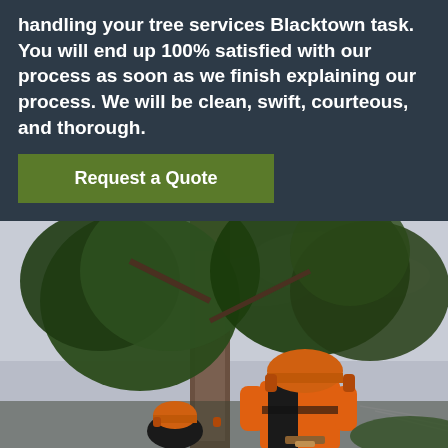handling your tree services Blacktown task. You will end up 100% satisfied with our process as soon as we finish explaining our process. We will be clean, swift, courteous, and thorough.
Request a Quote
[Figure (photo): Two tree service workers wearing orange helmets and safety gear standing near a large tree with branches and overcast sky in the background]
CONTACT US
0480 024 203